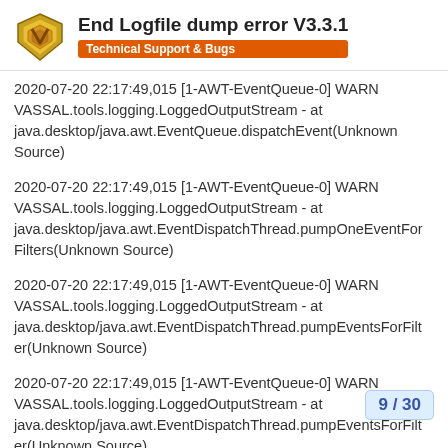End Logfile dump error V3.3.1 — Technical Support & Bugs
2020-07-20 22:17:49,015 [1-AWT-EventQueue-0] WARN VASSAL.tools.logging.LoggedOutputStream - at java.desktop/java.awt.EventQueue.dispatchEvent(Unknown Source)
2020-07-20 22:17:49,015 [1-AWT-EventQueue-0] WARN VASSAL.tools.logging.LoggedOutputStream - at java.desktop/java.awt.EventDispatchThread.pumpOneEventForFilters(Unknown Source)
2020-07-20 22:17:49,015 [1-AWT-EventQueue-0] WARN VASSAL.tools.logging.LoggedOutputStream - at java.desktop/java.awt.EventDispatchThread.pumpEventsForFilter(Unknown Source)
2020-07-20 22:17:49,015 [1-AWT-EventQueue-0] WARN VASSAL.tools.logging.LoggedOutputStream - at java.desktop/java.awt.EventDispatchThread.pumpEventsForFilter(Unknown Source)
9 / 30